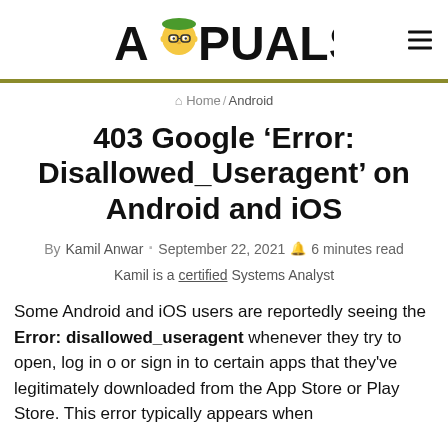APPUALS
Home / Android
403 Google ‘Error: Disallowed_Useragent’ on Android and iOS
By Kamil Anwar · September 22, 2021 🎯 6 minutes read
Kamil is a certified Systems Analyst
Some Android and iOS users are reportedly seeing the Error: disallowed_useragent whenever they try to open, log in o or sign in to certain apps that they’ve legitimately downloaded from the App Store or Play Store. This error typically appears when